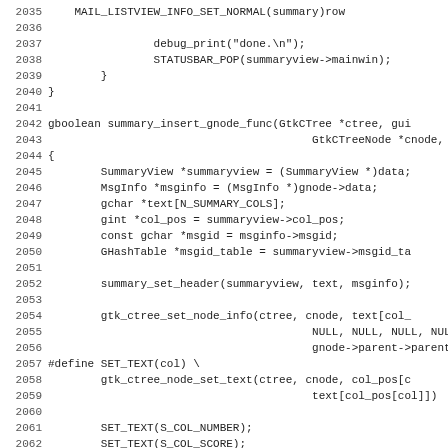Source code listing, lines 2035-2067, C programming language